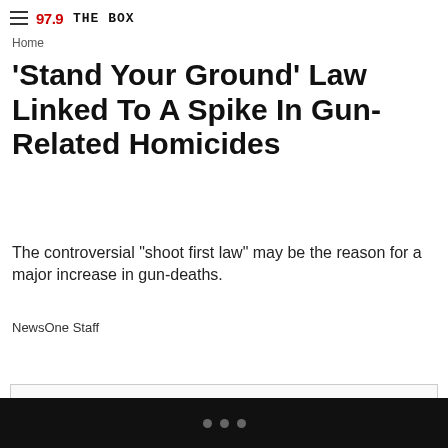97.9 THE BOX
Home
'Stand Your Ground' Law Linked To A Spike In Gun-Related Homicides
The controversial "shoot first law" may be the reason for a major increase in gun-deaths.
NewsOne Staff